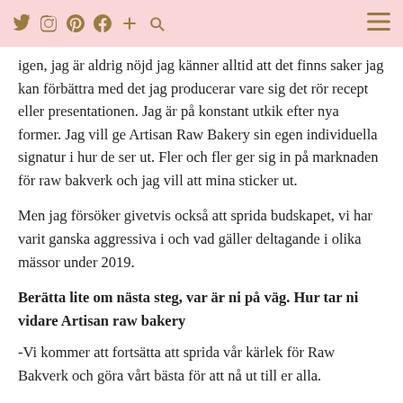Social media icons: Twitter, Instagram, Pinterest, Facebook, Plus, Search; Hamburger menu
igen, jag är aldrig nöjd jag känner alltid att det finns saker jag kan förbättra med det jag producerar vare sig det rör recept eller presentationen. Jag är på konstant utkik efter nya former. Jag vill ge Artisan Raw Bakery sin egen individuella signatur i hur de ser ut. Fler och fler ger sig in på marknaden för raw bakverk och jag vill att mina sticker ut.
Men jag försöker givetvis också att sprida budskapet, vi har varit ganska aggressiva i och vad gäller deltagande i olika mässor under 2019.
Berätta lite om nästa steg, var är ni på väg. Hur tar ni vidare Artisan raw bakery
-Vi kommer att fortsätta att sprida vår kärlek för Raw Bakverk och göra vårt bästa för att nå ut till er alla.